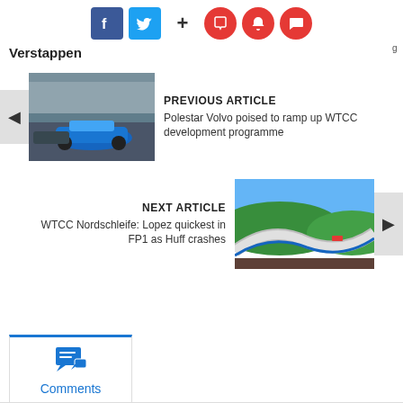[Figure (screenshot): Social media sharing icons: Facebook (blue), Twitter (cyan), plus sign, and three red circular icons (bookmark, bell, chat)]
Verstappen
[Figure (photo): Racing cars on track, blue Polestar Volvo WTCC car in foreground]
PREVIOUS ARTICLE
Polestar Volvo poised to ramp up WTCC development programme
[Figure (photo): Racing circuit aerial view, Nordschleife track with red racing car]
NEXT ARTICLE
WTCC Nordschleife: Lopez quickest in FP1 as Huff crashes
[Figure (screenshot): Comments tab with chat bubble icon and 'Comments' label in blue]